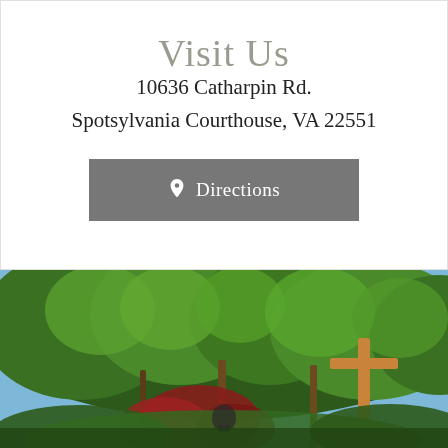Visit Us
10636 Catharpin Rd.
Spotsylvania Courthouse, VA 22551
Directions
[Figure (photo): Outdoor photo showing lush green trees with a wooden cross visible on the right side, blue sky in the background, and red foliage in the lower center.]